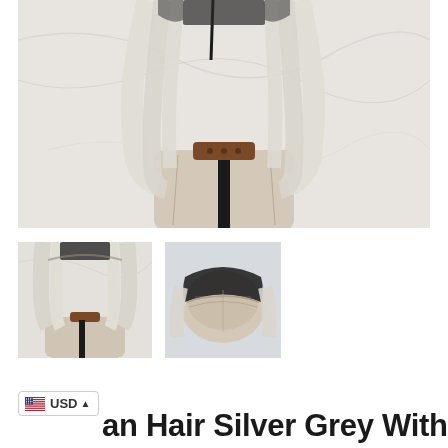[Figure (photo): Main large product photo of a silver-grey bob wig with dark roots on a mannequin stand against a marble background]
[Figure (photo): Thumbnail photo of the same silver-grey bob wig showing side view on a mannequin, dark roots visible]
[Figure (photo): Thumbnail photo of the silver-grey bob wig showing lace front detail and top of the wig cap]
USD
an Hair Silver Grey With